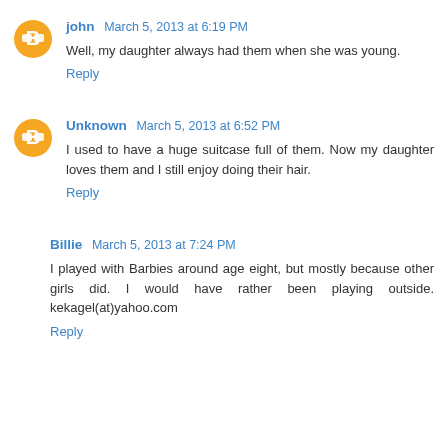john March 5, 2013 at 6:19 PM
Well, my daughter always had them when she was young.
Reply
Unknown March 5, 2013 at 6:52 PM
I used to have a huge suitcase full of them. Now my daughter loves them and I still enjoy doing their hair.
Reply
Billie March 5, 2013 at 7:24 PM
I played with Barbies around age eight, but mostly because other girls did. I would have rather been playing outside. kekagel(at)yahoo.com
Reply